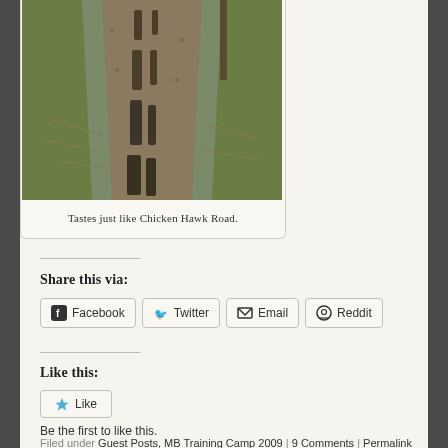[Figure (photo): A dirt trail or gravel road with muddy ruts running through it, surrounded by dry grass and sparse vegetation, viewed from above looking down the path. A wooden fence post is visible on the right side.]
Tastes just like Chicken Hawk Road.
Share this via:
Facebook  Twitter  Email  Reddit
Like this:
Like
Be the first to like this.
Filed under Guest Posts, MB Training Camp 2009 | 9 Comments | Permalink